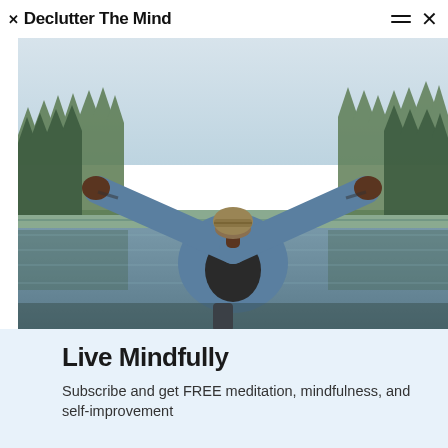Declutter The Mind
[Figure (photo): Person standing with arms outstretched against a backdrop of pine forest and a reflective lake, wearing a beanie hat and denim jacket, viewed from behind.]
Live Mindfully
Subscribe and get FREE meditation, mindfulness, and self-improvement